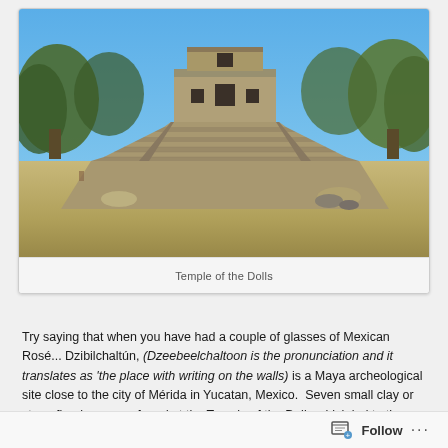[Figure (photo): Photograph of the Temple of the Dolls, a Mayan archaeological structure with stone steps leading up to a temple building, surrounded by trees and a dirt ground area, under a blue sky.]
Temple of the Dolls
Try saying that when you have had a couple of glasses of Mexican Rosé... Dzibilchaltún, (Dzeebeelchaltoon is the pronunciation and it translates as 'the place with writing on the walls) is a Maya archeological site close to the city of Mérida in Yucatan, Mexico.  Seven small clay or stone figurines were found at the Temple of the Dolls which led to the name and it is built under the ruins of a previous pyramid.  The
Follow ...